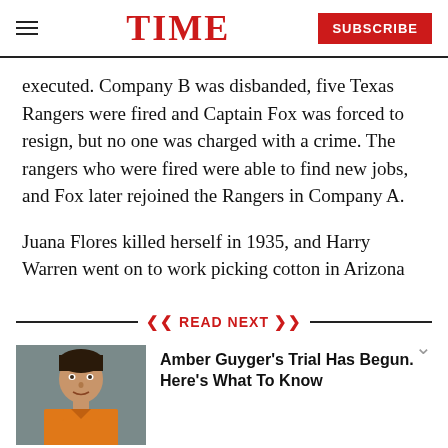TIME | SUBSCRIBE
executed. Company B was disbanded, five Texas Rangers were fired and Captain Fox was forced to resign, but no one was charged with a crime. The rangers who were fired were able to find new jobs, and Fox later rejoined the Rangers in Company A.
Juana Flores killed herself in 1935, and Harry Warren went on to work picking cotton in Arizona
READ NEXT
[Figure (photo): Mugshot photo of Amber Guyger in orange prison jumpsuit]
Amber Guyger's Trial Has Begun. Here's What To Know